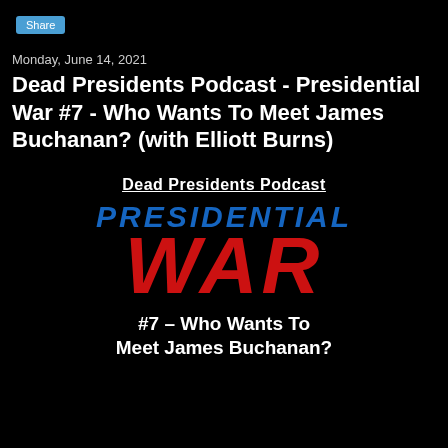Share
Monday, June 14, 2021
Dead Presidents Podcast - Presidential War #7 - Who Wants To Meet James Buchanan? (with Elliott Burns)
[Figure (illustration): Dead Presidents Podcast logo/artwork on black background. Shows 'Dead Presidents Podcast' underlined at top, then 'PRESIDENTIAL' in blue italic bold text, then 'WAR' in large red bold italic text, then '#7 – Who Wants To Meet James Buchanan?' in white bold text below.]